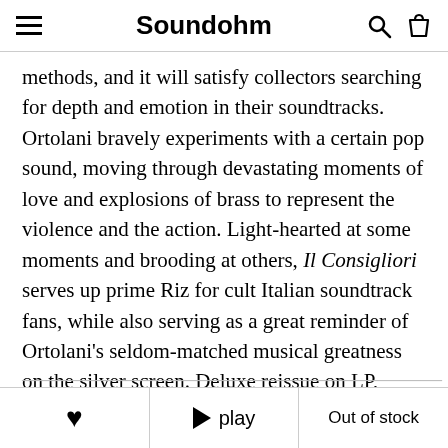Soundohm
methods, and it will satisfy collectors searching for depth and emotion in their soundtracks. Ortolani bravely experiments with a certain pop sound, moving through devastating moments of love and explosions of brass to represent the violence and the action. Light-hearted at some moments and brooding at others, Il Consigliori serves up prime Riz for cult Italian soundtrack fans, while also serving as a great reminder of Ortolani's seldom-matched musical greatness on the silver screen. Deluxe reissue on LP, remastered with audiophile quality.